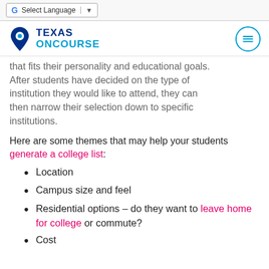G Select Language ▼
[Figure (logo): Texas OnCourse logo with location pin icon and hamburger menu button]
that fits their personality and educational goals. After students have decided on the type of institution they would like to attend, they can then narrow their selection down to specific institutions.
Here are some themes that may help your students generate a college list:
Location
Campus size and feel
Residential options – do they want to leave home for college or commute?
Cost